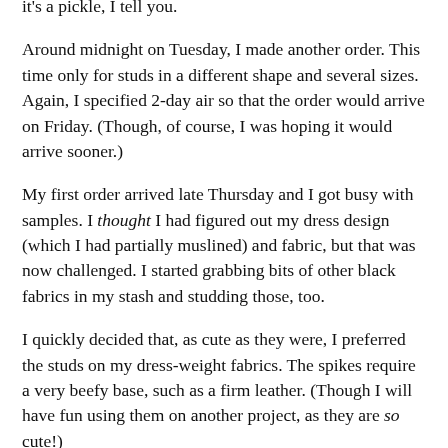it's a pickle, I tell you.
Around midnight on Tuesday, I made another order. This time only for studs in a different shape and several sizes. Again, I specified 2-day air so that the order would arrive on Friday. (Though, of course, I was hoping it would arrive sooner.)
My first order arrived late Thursday and I got busy with samples. I thought I had figured out my dress design (which I had partially muslined) and fabric, but that was now challenged. I started grabbing bits of other black fabrics in my stash and studding those, too.
I quickly decided that, as cute as they were, I preferred the studs on my dress-weight fabrics. The spikes require a very beefy base, such as a firm leather. (Though I will have fun using them on another project, as they are so cute!)
I'm glad I ordered a lot of extra studs, as it took me awhile to figure out the sort of interfacing I needed, and how to get the studs to line up properly. These studs are made from a fairly rigid metal made from nickel and steel. The prongs require